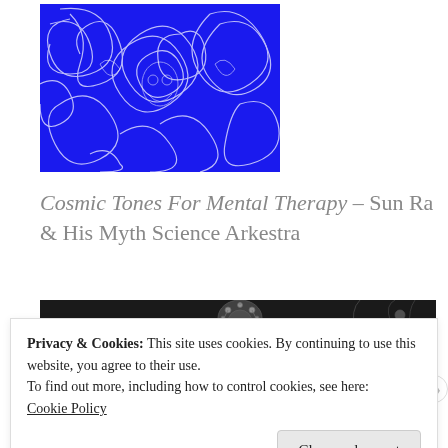[Figure (illustration): Blue and white swirling abstract illustration, album art with cosmic/psychedelic imagery]
Cosmic Tones For Mental Therapy – Sun Ra & His Myth Science Arkestra
[Figure (illustration): Dark monochrome banner image showing stylized text 'DREAMS' with art nouveau female figure and decorative cosmic/celestial imagery]
Privacy & Cookies: This site uses cookies. By continuing to use this website, you agree to their use.
To find out more, including how to control cookies, see here: Cookie Policy
Close and accept